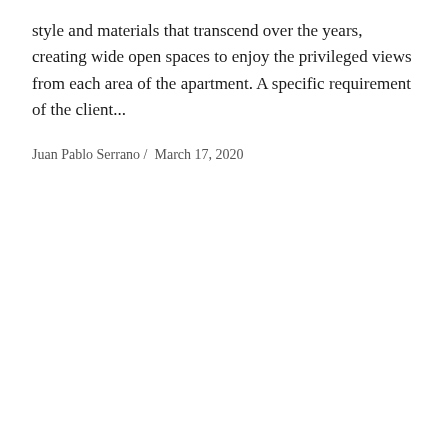style and materials that transcend over the years, creating wide open spaces to enjoy the privileged views from each area of the apartment. A specific requirement of the client...
Juan Pablo Serrano /  March 17, 2020